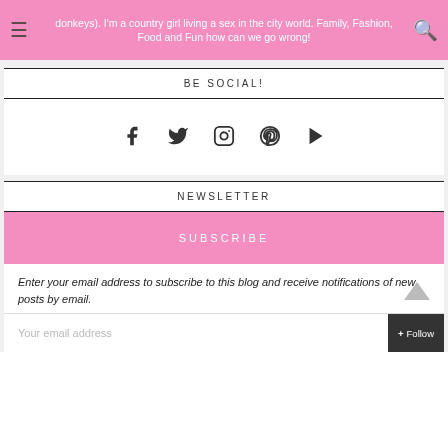donkeys). I'm a country girl living a sex in the city world. Family, Fashion, Food and Fun how can we go wrong!
BE SOCIAL!
[Figure (other): Row of social media icons: Facebook, Twitter, Instagram, Pinterest, YouTube]
NEWSLETTER
SUBSCRIBE
Enter your email address to subscribe to this blog and receive notifications of new posts by email.
Your email address